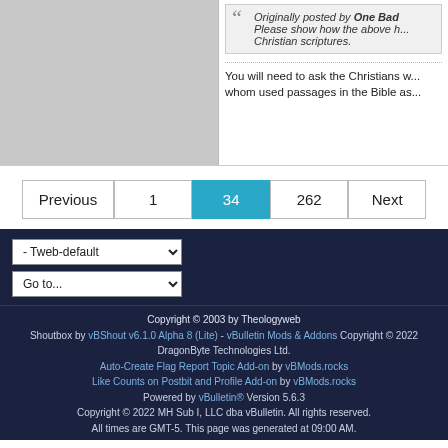[Figure (other): Gray placeholder avatar/image box on the left side of a forum post]
Originally posted by One Bad... Please show how the above h... Christian scriptures.
You will need to ask the Christians w... whom used passages in the Bible as...
Previous  1  34  262  Next
- Tweb-default (dropdown)  Go to... (dropdown)
Copyright © 2003 by Theologyweb
Shoutbox by vBShout v6.1.0 Alpha 8 (Lite) - vBulletin Mods & Addons Copyright © 2022 DragonByte Technologies Ltd.
Auto-Create Flag Report Topic Add-on by vBMods.rocks
Like Counts on Postbit and Profile Add-on by vBMods.rocks
Powered by vBulletin® Version 5.6.3
Copyright © 2022 MH Sub I, LLC dba vBulletin. All rights reserved.
All times are GMT-5. This page was generated at 09:00 AM.